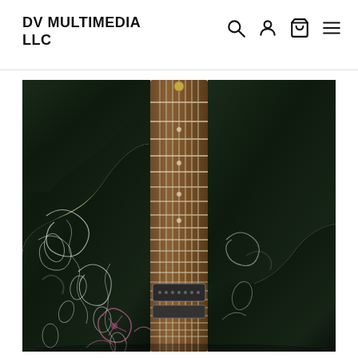DV MULTIMEDIA LLC
[Figure (photo): Close-up photograph of an electric guitar body and neck. The guitar body is dark/black with intricate white and pink floral and swirl artwork painted on it. The guitar neck shows frets and strings. The background is blurred showing a wooden table and indoor setting.]